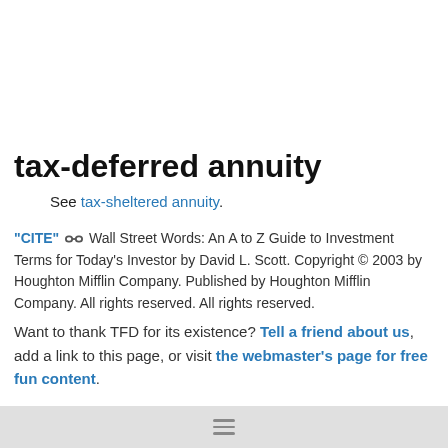tax-deferred annuity
See tax-sheltered annuity.
“CITE” 🔗 Wall Street Words: An A to Z Guide to Investment Terms for Today’s Investor by David L. Scott. Copyright © 2003 by Houghton Mifflin Company. Published by Houghton Mifflin Company. All rights reserved. All rights reserved.
Want to thank TFD for its existence? Tell a friend about us, add a link to this page, or visit the webmaster’s page for free fun content.